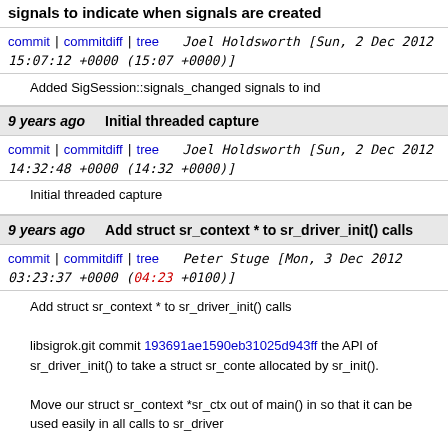signals to indicate when signals are created
commit | commitdiff | tree   Joel Holdsworth [Sun, 2 Dec 2012 15:07:12 +0000 (15:07 +0000)]
Added SigSession::signals_changed signals to ind
9 years ago   Initial threaded capture
commit | commitdiff | tree   Joel Holdsworth [Sun, 2 Dec 2012 14:32:48 +0000 (14:32 +0000)]
Initial threaded capture
9 years ago   Add struct sr_context * to sr_driver_init() calls
commit | commitdiff | tree   Peter Stuge [Mon, 3 Dec 2012 03:23:37 +0000 (04:23 +0100)]
Add struct sr_context * to sr_driver_init() calls

libsigrok.git commit 193691ae1590eb31025d943ff the API of sr_driver_init() to take a struct sr_conte allocated by sr_init().

Move our struct sr_context *sr_ctx out of main() in so that it can be used easily in all calls to sr_driver